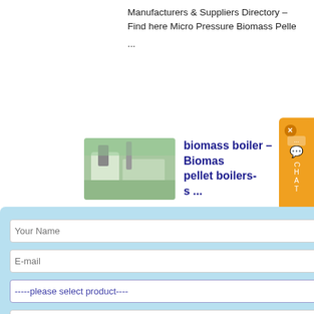Manufacturers & Suppliers Directory – Find here Micro Pressure Biomass Pelle... ...
[Figure (photo): Photo of industrial equipment, likely a biomass boiler unit outdoors with trees in background]
biomass boiler – Biomass pellet boilers- s ...
sure Biomass Steam Boiler frequency conversion contro the time setting, pressure shortage alarm, ...
[Figure (photo): Photo of large blue industrial steam boiler equipment]
ressure Biomass Steam Boiler – Biomass boilers ...
Features of low pressure biomass
[Figure (other): Chat widget with orange background showing CHAT label]
X Your Name E-mail -----please select product---- capacity ↓↓↓More information↓↓↓ Submit